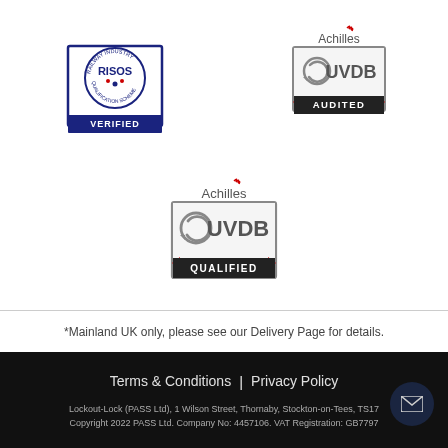[Figure (logo): RISOS Railway Industry Qualification Scheme VERIFIED badge - circular stamp with rectangular blue border]
[Figure (logo): Achilles UVDB AUDITED badge]
[Figure (logo): Achilles UVDB QUALIFIED badge]
*Mainland UK only, please see our Delivery Page for details.
Terms & Conditions | Privacy Policy
Lockout-Lock (PASS Ltd), 1 Wilson Street, Thornaby, Stockton-on-Tees, TS17
Copyright 2022 PASS Ltd. Company No: 4457106. VAT Registration: GB7797